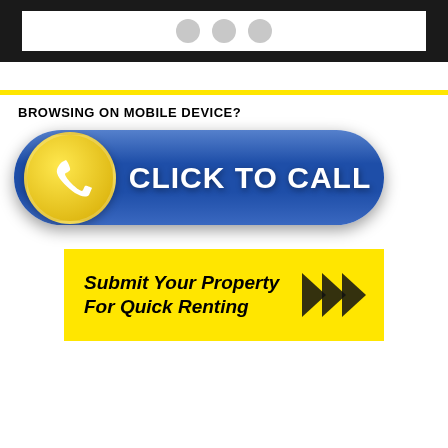[Figure (illustration): Bottom portion of a tablet device mockup with dark bezel and white screen area showing three gray circles]
[Figure (infographic): Yellow horizontal rule divider line]
BROWSING ON MOBILE DEVICE?
[Figure (infographic): Blue rounded rectangle Click To Call button with yellow phone icon circle on left and white bold text CLICK TO CALL]
[Figure (infographic): Yellow banner with black bold italic text Submit Your Property For Quick Renting and black chevron arrows on right]